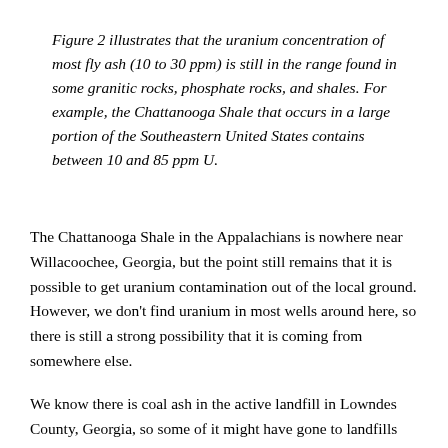Figure 2 illustrates that the uranium concentration of most fly ash (10 to 30 ppm) is still in the range found in some granitic rocks, phosphate rocks, and shales. For example, the Chattanooga Shale that occurs in a large portion of the Southeastern United States contains between 10 and 85 ppm U.
The Chattanooga Shale in the Appalachians is nowhere near Willacoochee, Georgia, but the point still remains that it is possible to get uranium contamination out of the local ground. However, we don't find uranium in most wells around here, so there is still a strong possibility that it is coming from somewhere else.
We know there is coal ash in the active landfill in Lowndes County, Georgia, so some of it might have gone to landfills